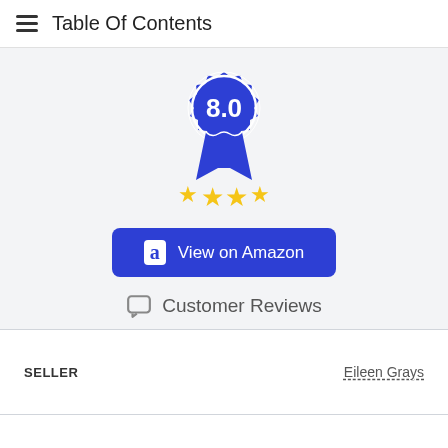Table Of Contents
[Figure (infographic): Blue award badge/ribbon with score '8.0' in the center circle, with three yellow stars below on ribbon tails]
[Figure (other): Blue 'View on Amazon' button with Amazon 'a' logo icon]
Customer Reviews
| Field | Value |
| --- | --- |
| SELLER | Eileen Grays |
| CPR RANK | - |
| AMAZON FULFILLED |  |